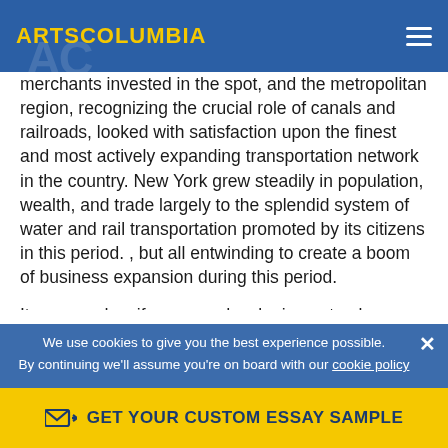ARTSCOLUMBIA
merchants invested in the spot, and the metropolitan region, recognizing the crucial role of canals and railroads, looked with satisfaction upon the finest and most actively expanding transportation network in the country. New York grew steadily in population, wealth, and trade largely to the splendid system of water and rail transportation promoted by its citizens in this period. , but all entwinding to create a boom of business expansion during this period.
It appeared as if we were developing not only as a state but as a civilized nation whenever this development would be curtailed by the onsloat of a civil war. Business...
We use cookies to give you the best experience possible. By continuing we'll assume you're on board with our cookie policy
GET YOUR CUSTOM ESSAY SAMPLE